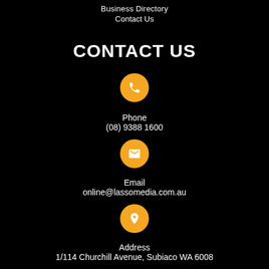Business Directory
Contact Us
CONTACT US
[Figure (illustration): Orange circle with white phone icon]
Phone
(08) 9388 1600
[Figure (illustration): Orange circle with white envelope/email icon]
Email
online@lassomedia.com.au
[Figure (illustration): Orange circle with white map pin/location icon]
Address
1/114 Churchill Avenue, Subiaco WA 6008